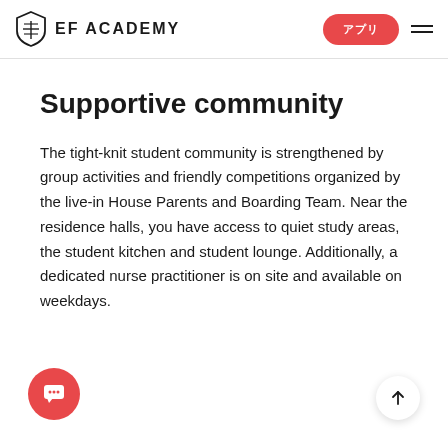EF ACADEMY
Supportive community
The tight-knit student community is strengthened by group activities and friendly competitions organized by the live-in House Parents and Boarding Team. Near the residence halls, you have access to quiet study areas, the student kitchen and student lounge. Additionally, a dedicated nurse practitioner is on site and available on weekdays.